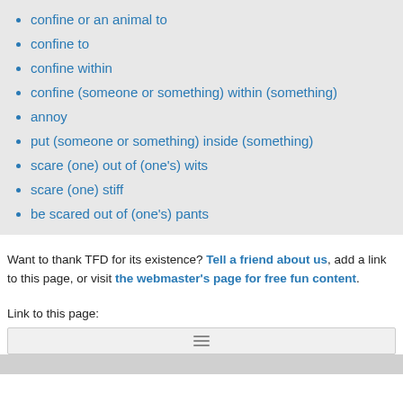confine or an animal to
confine to
confine within
confine (someone or something) within (something)
annoy
put (someone or something) inside (something)
scare (one) out of (one's) wits
scare (one) stiff
be scared out of (one's) pants
Want to thank TFD for its existence? Tell a friend about us, add a link to this page, or visit the webmaster's page for free fun content.
Link to this page: